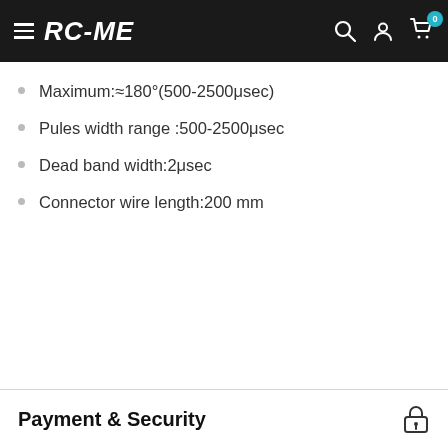RC-ME
Maximum:≈180°(500-2500μsec)
Pules width range :500-2500μsec
Dead band width:2μsec
Connector wire length:200 mm
Payment & Security